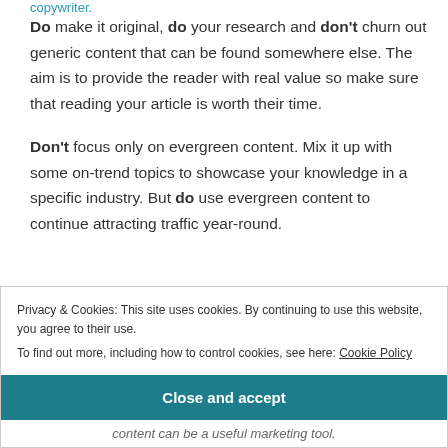copywriter.
Do make it original, do your research and don't churn out generic content that can be found somewhere else. The aim is to provide the reader with real value so make sure that reading your article is worth their time.
Don't focus only on evergreen content. Mix it up with some on-trend topics to showcase your knowledge in a specific industry. But do use evergreen content to continue attracting traffic year-round.
Privacy & Cookies: This site uses cookies. By continuing to use this website, you agree to their use.
To find out more, including how to control cookies, see here: Cookie Policy
Close and accept
content can be a useful marketing tool.